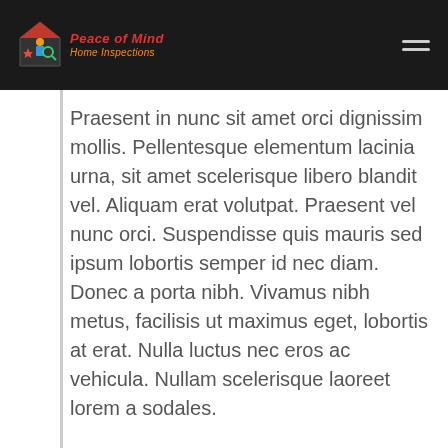Peace of Mind Home Inspections
Praesent in nunc sit amet orci dignissim mollis. Pellentesque elementum lacinia urna, sit amet scelerisque libero blandit vel. Aliquam erat volutpat. Praesent vel nunc orci. Suspendisse quis mauris sed ipsum lobortis semper id nec diam. Donec a porta nibh. Vivamus nibh metus, facilisis ut maximus eget, lobortis at erat. Nulla luctus nec eros ac vehicula. Nullam scelerisque laoreet lorem a sodales.
Integer convallis, odio ut rutrum euismod, mi purus pulvinar justo, quis mollis metus metus vitae nibh. Proin eget tincidunt arcu.